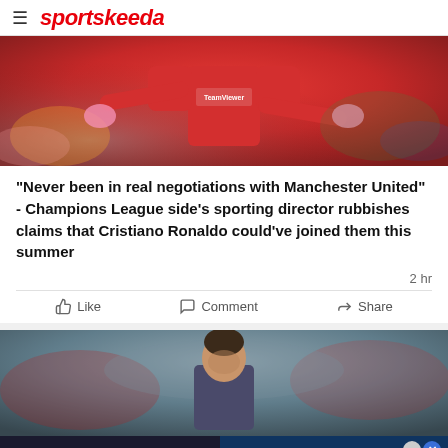sportskeeda
[Figure (photo): A player in a red Manchester United jersey with TeamViewer sponsor, arms outstretched]
“Never been in real negotiations with Manchester United” - Champions League side’s sporting director rubbishes claims that Cristiano Ronaldo could’ve joined them this summer
2 hr
Like   Comment   Share
[Figure (photo): A football player (Messi) in front of a blurred crowd background]
[Figure (infographic): BitLife ad banner: NOW WITH GOD MODE, with snake logo and pointing hand emoji]